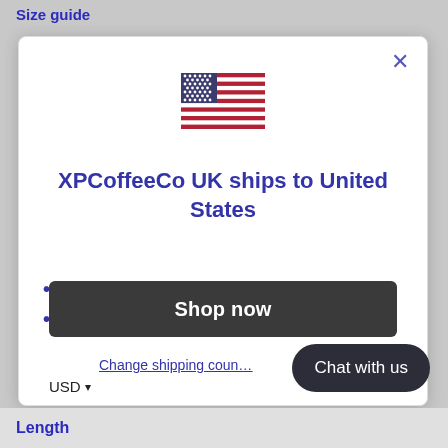Size guide
[Figure (illustration): US flag emoji/icon]
XPCoffeeCo UK ships to United States
Shop in GBP £
Get shipping options for United States
Shop now
Change shipping coun…
USD ▾
Chat with us
Length